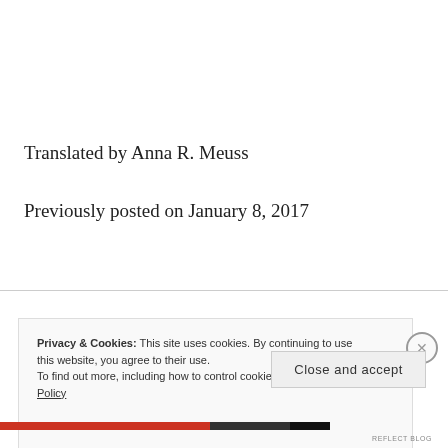Translated by Anna R. Meuss
Previously posted on January 8, 2017
Privacy & Cookies: This site uses cookies. By continuing to use this website, you agree to their use.
To find out more, including how to control cookies, see here: Cookie Policy
Close and accept